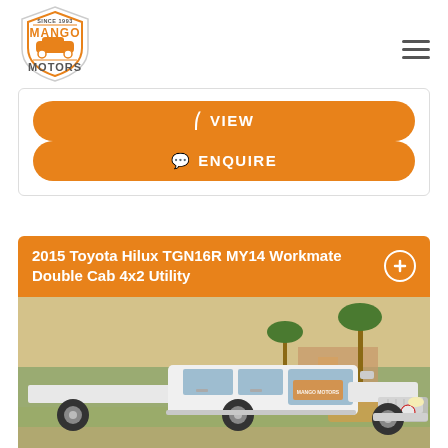[Figure (logo): Mango Motors logo — shield shape with orange car illustration and text 'MANGO MOTORS']
VIEW
ENQUIRE
2015 Toyota Hilux TGN16R MY14 Workmate Double Cab 4x2 Utility
[Figure (photo): White Toyota Hilux double cab flat-tray utility photographed in a car yard with palm trees in the background]